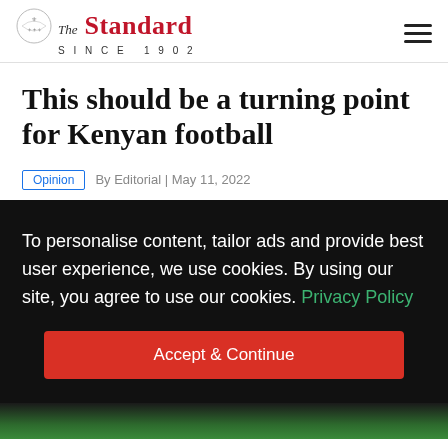The Standard SINCE 1902
This should be a turning point for Kenyan football
Opinion  By Editorial | May 11, 2022
To personalise content, tailor ads and provide best user experience, we use cookies. By using our site, you agree to use our cookies. Privacy Policy
Accept & Continue
[Figure (photo): Bottom portion of a football/soccer match photo on green grass]